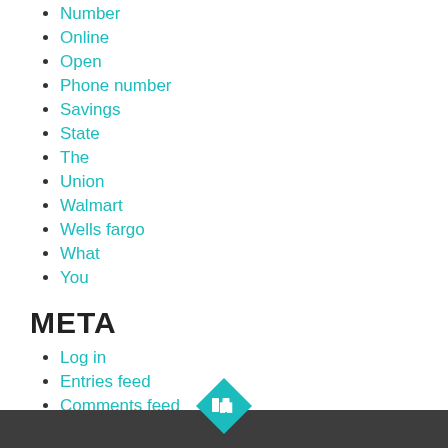Number
Online
Open
Phone number
Savings
State
The
Union
Walmart
Wells fargo
What
You
META
Log in
Entries feed
Comments feed
WordPress.org